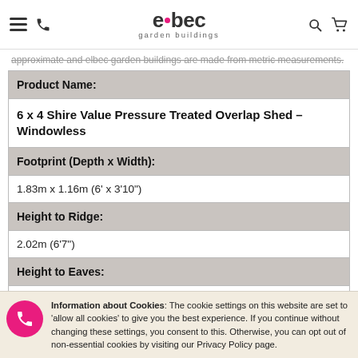elbec garden buildings
approximate and elbec garden buildings are made from metric measurements.
| Product Name: |
| 6 x 4 Shire Value Pressure Treated Overlap Shed - Windowless |
| Footprint (Depth x Width): |
| 1.83m x 1.16m (6' x 3'10") |
| Height to Ridge: |
| 2.02m (6'7") |
| Height to Eaves: |
| 1.54m (5'1") |
| Walls: |
Information about Cookies: The cookie settings on this website are set to 'allow all cookies' to give you the best experience. If you continue without changing these settings, you consent to this. Otherwise, you can opt out of non-essential cookies by visiting our Privacy Policy page.